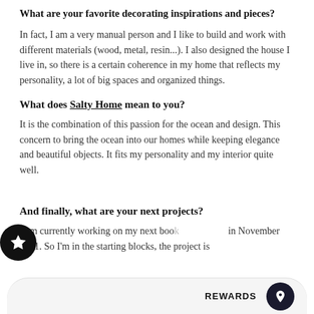What are your favorite decorating inspirations and pieces?
In fact, I am a very manual person and I like to build and work with different materials (wood, metal, resin...). I also designed the house I live in, so there is a certain coherence in my home that reflects my personality, a lot of big spaces and organized things.
What does Salty Home mean to you?
It is the combination of this passion for the ocean and design. This concern to bring the ocean into our homes while keeping elegance and beautiful objects. It fits my personality and my interior quite well.
And finally, what are your next projects?
I am currently working on my next boo... in November 2021. So I'm in the starting blocks, the project is